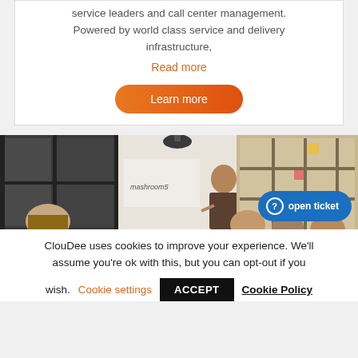service leaders and call center management. Powered by world class service and delivery infrastructure,
Read more
Learn more
[Figure (photo): Office meeting room photo collage: left panel shows dark-framed glass walls, middle panel shows a presenter standing at a whiteboard with 'mashroom5' text and a hanging lamp, right panel shows a large window with people seated in foreground with sticky notes on glass]
open ticket
ClouDee uses cookies to improve your experience. We'll assume you're ok with this, but you can opt-out if you wish.
Cookie settings
ACCEPT
Cookie Policy